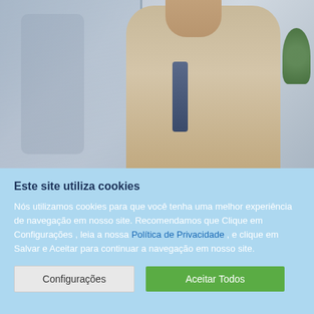[Figure (photo): A middle-aged professional man with gray hair and beard, wearing a beige/tan blazer with a blue patterned tie, leaning against a glass panel with arms crossed, smiling. Green plant visible in upper right corner.]
Este site utiliza cookies
Nós utilizamos cookies para que você tenha uma melhor experiência de navegação em nosso site. Recomendamos que Clique em Configurações , leia a nossa Política de Privacidade , e clique em Salvar e Aceitar para continuar a navegação em nosso site.
Configurações | Aceitar Todos